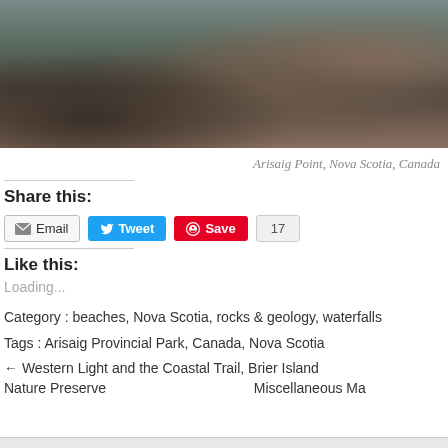[Figure (photo): Coastal rocky shoreline with waves and dark rocks, green vegetation, at Arisaig Point, Nova Scotia, Canada]
Arisaig Point, Nova Scotia, Canada
Share this:
Email  Tweet  Save  17
Like this:
Loading...
Category : beaches, Nova Scotia, rocks & geology, waterfalls
Tags : Arisaig Provincial Park, Canada, Nova Scotia
← Western Light and the Coastal Trail, Brier Island Nature Preserve   Miscellaneous Ma